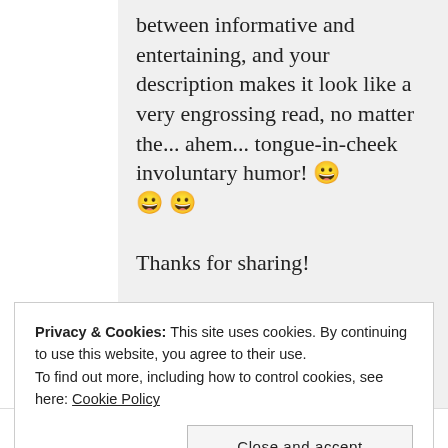between informative and entertaining, and your description makes it look like a very engrossing read, no matter the... ahem... tongue-in-cheek involuntary humor! 😀 😀 😀

Thanks for sharing!
★ Liked by 1 person
Privacy & Cookies: This site uses cookies. By continuing to use this website, you agree to their use.
To find out more, including how to control cookies, see here: Cookie Policy
Close and accept